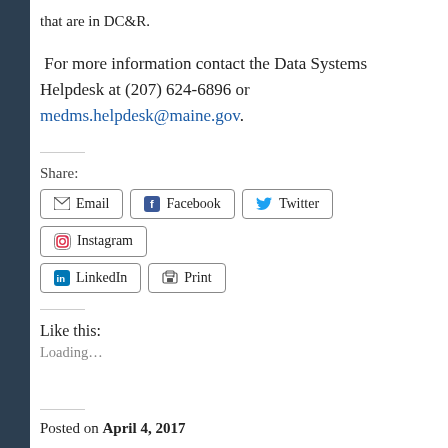that are in DC&R.
For more information contact the Data Systems Helpdesk at (207) 624-6896 or medms.helpdesk@maine.gov.
Share:
Email | Facebook | Twitter | Instagram | LinkedIn | Print
Like this:
Loading...
Posted on April 4, 2017